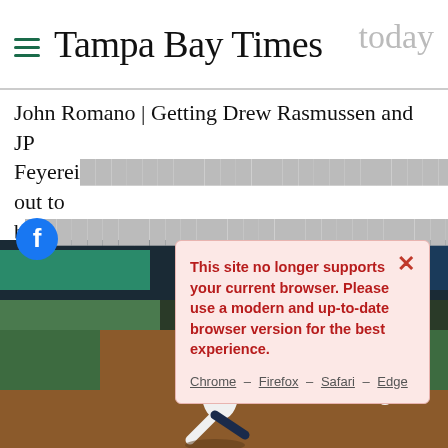Tampa Bay Times
John Romano | Getting Drew Rasmussen and JP Feyerei… turn out to b… ades.
[Figure (screenshot): Browser compatibility modal dialog over a Tampa Bay Times article page showing a baseball pitcher in follow-through on mound with stadium background]
This site no longer supports your current browser. Please use a modern and up-to-date browser version for the best experience.
Chrome – Firefox – Safari – Edge